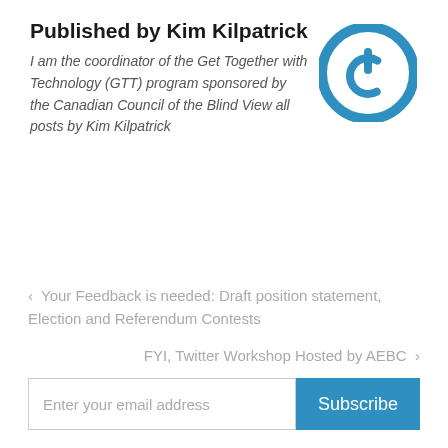Published by Kim Kilpatrick
I am the coordinator of the Get Together with Technology (GTT) program sponsored by the Canadian Council of the Blind View all posts by Kim Kilpatrick
[Figure (logo): Circular blue power button logo icon]
‹  Your Feedback is needed: Draft position statement, Election and Referendum Contests
FYI, Twitter Workshop Hosted by AEBC  ›
Enter your email address   Subscribe